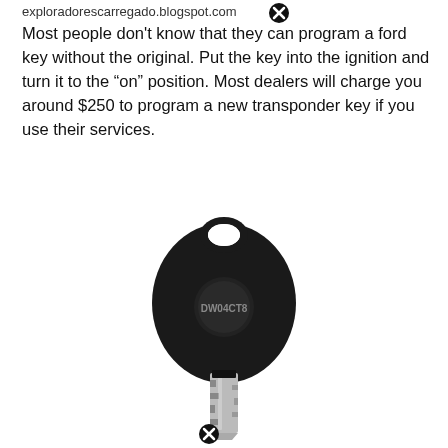exploradorescarregado.blogspot.com
Most people don't know that they can program a ford key without the original. Put the key into the ignition and turn it to the “on” position. Most dealers will charge you around $250 to program a new transponder key if you use their services.
[Figure (photo): A black transponder car key with a round key fob body labeled 'DW04CT8' and a silver metal key blade extending downward.]